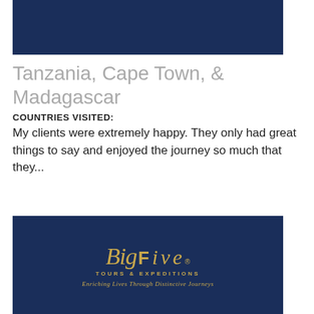[Figure (photo): Dark navy blue banner/image at top of page]
Tanzania, Cape Town, & Madagascar
COUNTRIES VISITED:
My clients were extremely happy. They only had great things to say and enjoyed the journey so much that they...
READ MORE
[Figure (logo): Big Five Tours & Expeditions logo on dark navy background with tagline 'Enriching Lives Through Distinctive Journeys']